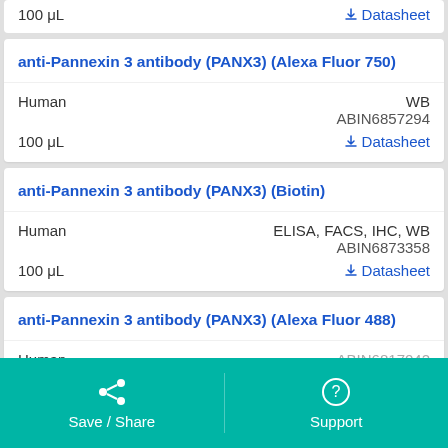100 μL   Datasheet
anti-Pannexin 3 antibody (PANX3) (Alexa Fluor 750)
Human   WB   ABIN6857294   100 μL   Datasheet
anti-Pannexin 3 antibody (PANX3) (Biotin)
Human   ELISA, FACS, IHC, WB   ABIN6873358   100 μL   Datasheet
anti-Pannexin 3 antibody (PANX3) (Alexa Fluor 488)
Human   ABIN6817042